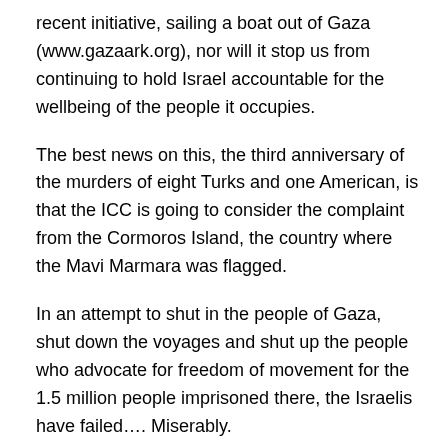recent initiative, sailing a boat out of Gaza (www.gazaark.org), nor will it stop us from continuing to hold Israel accountable for the wellbeing of the people it occupies.
The best news on this, the third anniversary of the murders of eight Turks and one American, is that the ICC is going to consider the complaint from the Cormoros Island, the country where the Mavi Marmara was flagged.
In an attempt to shut in the people of Gaza, shut down the voyages and shut up the people who advocate for freedom of movement for the 1.5 million people imprisoned there, the Israelis have failed.... Miserably.
– Greta Berlin is one of the five co-founders of the Free Gaza movement (www.freegazamovement.com) and was